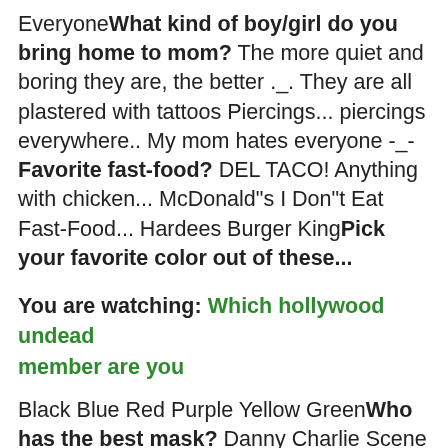Everyone What kind of boy/girl do you bring home to mom? The more quiet and boring they are, the better ._. They are all plastered with tattoos Piercings... piercings everywhere.. My mom hates everyone -_- Favorite fast-food? DEL TACO! Anything with chicken... McDonald"s I Don"t Eat Fast-Food... Hardees Burger King Pick your favorite color out of these...
You are watching: Which hollywood undead member are you
Black Blue Red Purple Yellow Green Who has the best mask? Danny Charlie Scene Da-Kurlzz Johnny 3 Tears JDog Funny Man Favorite album? Swan Songs Notes From The Underground Desperate Measures American Tragedy Pick the closest to your personality out of these.. ME FREAKY!! Herp Derp... I Hate Everyone. -  - zzZzzZzz Normal Who